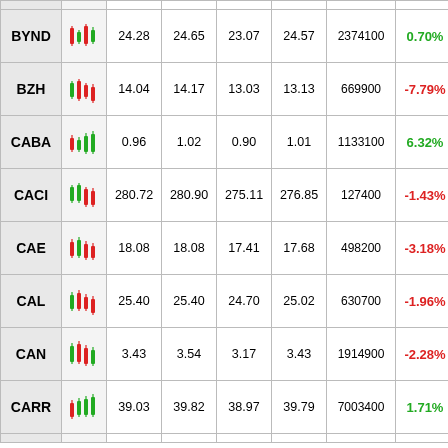| Ticker | Chart | Open | High | Low | Close | Volume | Change% |
| --- | --- | --- | --- | --- | --- | --- | --- |
| BYND |  | 24.28 | 24.65 | 23.07 | 24.57 | 2374100 | 0.70% |
| BZH |  | 14.04 | 14.17 | 13.03 | 13.13 | 669900 | -7.79% |
| CABA |  | 0.96 | 1.02 | 0.90 | 1.01 | 1133100 | 6.32% |
| CACI |  | 280.72 | 280.90 | 275.11 | 276.85 | 127400 | -1.43% |
| CAE |  | 18.08 | 18.08 | 17.41 | 17.68 | 498200 | -3.18% |
| CAL |  | 25.40 | 25.40 | 24.70 | 25.02 | 630700 | -1.96% |
| CAN |  | 3.43 | 3.54 | 3.17 | 3.43 | 1914900 | -2.28% |
| CARR |  | 39.03 | 39.82 | 38.97 | 39.79 | 7003400 | 1.71% |